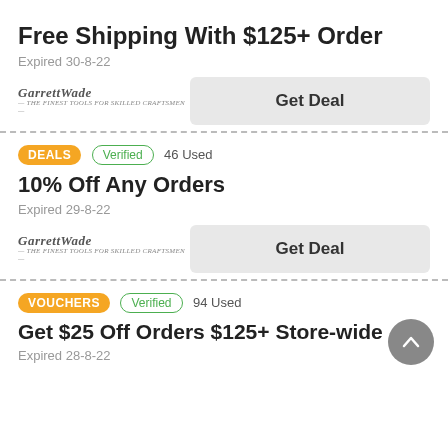Free Shipping With $125+ Order
Expired 30-8-22
Garrett Wade | Get Deal
DEALS · Verified · 46 Used
10% Off Any Orders
Expired 29-8-22
Garrett Wade | Get Deal
VOUCHERS · Verified · 94 Used
Get $25 Off Orders $125+ Store-wide
Expired 28-8-22